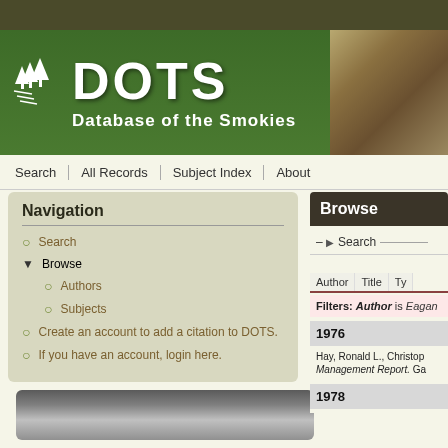[Figure (screenshot): DOTS - Database of the Smokies website screenshot showing header banner with green background, trees logo, navigation menu, left navigation panel, and right browse panel with search results]
DOTS - Database of the Smokies
Search | All Records | Subject Index | About
Navigation
Search
Browse
Authors
Subjects
Create an account to add a citation to DOTS.
If you have an account, login here.
Browse
Search
Author | Title | Ty
Filters: Author is Eagan
1976
Hay, Ronald L., Christop Management Report. Ga
1978